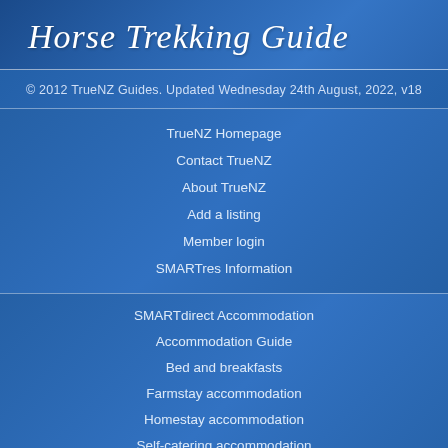Horse Trekking Guide
© 2012 TrueNZ Guides. Updated Wednesday 24th August, 2022, v18
TrueNZ Homepage
Contact TrueNZ
About TrueNZ
Add a listing
Member login
SMARTres Information
SMARTdirect Accommodation
Accommodation Guide
Bed and breakfasts
Farmstay accommodation
Homestay accommodation
Self-catering accommodation
Luxury accommodation
Holiday Homes